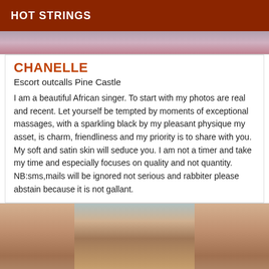HOT STRINGS
[Figure (photo): Top cropped photo, partial view]
CHANELLE
Escort outcalls Pine Castle
I am a beautiful African singer. To start with my photos are real and recent. Let yourself be tempted by moments of exceptional massages, with a sparkling black by my pleasant physique my asset, is charm, friendliness and my priority is to share with you. My soft and satin skin will seduce you. I am not a timer and take my time and especially focuses on quality and not quantity. NB:sms,mails will be ignored not serious and rabbiter please abstain because it is not gallant.
[Figure (photo): Bottom photo showing torso of a person in black bikini top]